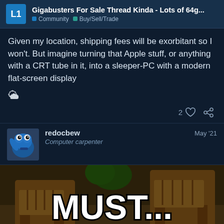Gigabusters For Sale Thread Kinda - Lots of 64g... | Community | Buy/Sell/Trade
Given my location, shipping fees will be exorbitant so I won't. But imagine turning that Apple stuff, or anything with a CRT tube in it, into a sleeper-PC with a modern flat-screen display ☁️
2 ♡ 🔗
redocbew
Computer carpenter
May '21
[Figure (photo): Meme image showing Cookie Monster with text 'MUST...' and a page counter showing 1/15]